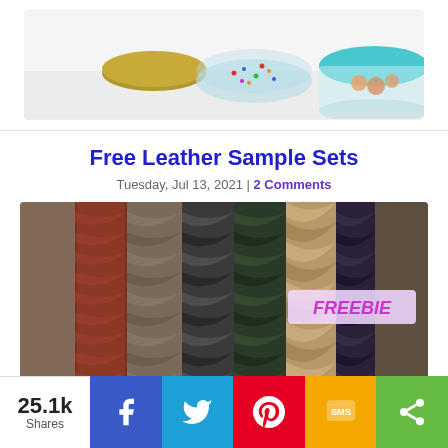[Figure (photo): Glass food storage containers with colorful sprinkles and cookies/snacks, one with gold lid on white background]
Free Leather Sample Sets
Tuesday, Jul 13, 2021 | 2 Comments
[Figure (photo): Close-up of multiple braided leather cords/ropes in various textures and colors including red, brown, dark grey/black, green, tan, and dark purple/navy. A 'FREEBIE' badge is overlaid in the top right area.]
25.1k Shares | Facebook | Twitter | Pinterest | SMS | Share